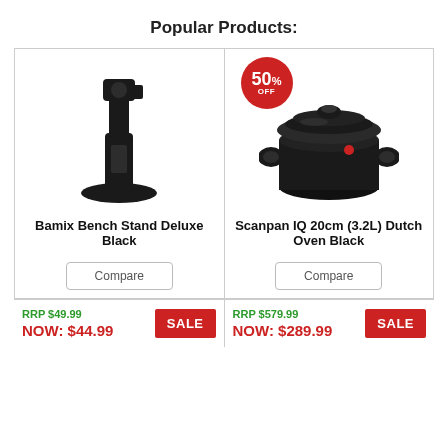Popular Products:
[Figure (photo): Bamix Bench Stand Deluxe Black - a black plastic blender stand with circular base]
Bamix Bench Stand Deluxe Black
Compare
[Figure (photo): Scanpan IQ 20cm (3.2L) Dutch Oven Black - a black cast pot with glass lid and two handles, with a 50% OFF red circular badge]
Scanpan IQ 20cm (3.2L) Dutch Oven Black
Compare
RRP $49.99
NOW: $44.99
SALE
RRP $579.99
NOW: $289.99
SALE